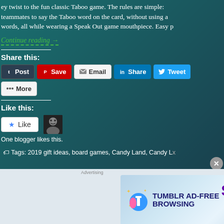ey twist to the fun classic Taboo game. The rules are simple: teammates to say the Taboo word on the card, without using a words, all while wearing a Speak Out game mouthpiece.  Easy p
Continue reading →
Share this:
[Figure (screenshot): Social sharing buttons: Post (Tumblr), Save (Pinterest), Email, Share (LinkedIn), Tweet (Twitter), More]
Like this:
[Figure (screenshot): Like button with star icon and an avatar thumbnail of a blogger]
One blogger likes this.
Tags: 2019 gift ideas, board games, Candy Land, Candy L...
[Figure (infographic): Tumblr AD-FREE BROWSING advertisement banner: $39.99 a year or $4.99 a month]